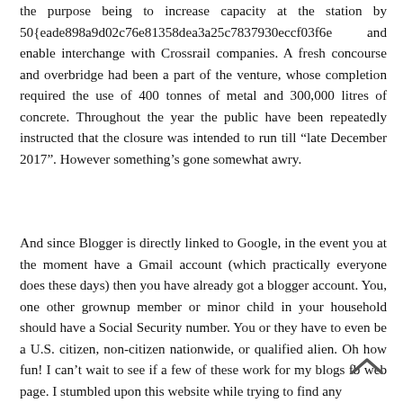the purpose being to increase capacity at the station by 50{eade898a9d02c76e81358dea3a25c7837930eccf03f6e and enable interchange with Crossrail companies. A fresh concourse and overbridge had been a part of the venture, whose completion required the use of 400 tonnes of metal and 300,000 litres of concrete. Throughout the year the public have been repeatedly instructed that the closure was intended to run till “late December 2017”. However something’s gone somewhat awry.
And since Blogger is directly linked to Google, in the event you at the moment have a Gmail account (which practically everyone does these days) then you have already got a blogger account. You, one other grownup member or minor child in your household should have a Social Security number. You or they have to even be a U.S. citizen, non-citizen nationwide, or qualified alien. Oh how fun! I can’t wait to see if a few of these work for my blogs fb web page. I stumbled upon this website while trying to find any